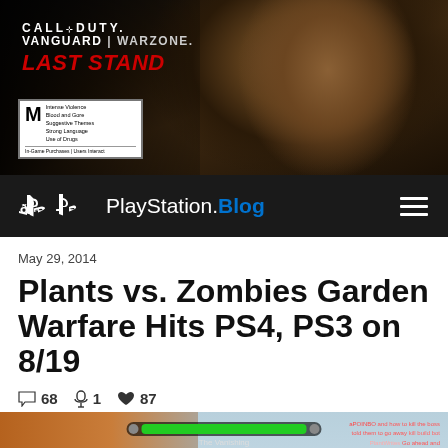[Figure (photo): Call of Duty Vanguard Warzone Last Stand advertisement banner with a soldier character and ESRB M rating box]
PlayStation.Blog
May 29, 2014
Plants vs. Zombies Garden Warfare Hits PS4, PS3 on 8/19
68 comments  1 microphone  87 likes
[Figure (screenshot): Plants vs. Zombies Garden Warfare gameplay screenshot showing game HUD with a green health bar, timer reading 4:30, and The Vanishing text overlay]